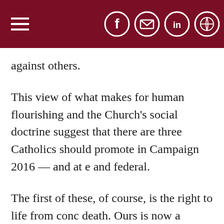[Navigation header with hamburger menu and social icons: Facebook, Email, LinkedIn, Share]
against others.
This view of what makes for human flourishing and the Church's social doctrine suggest that there are three Catholics should promote in Campaign 2016 — and at e and federal.
The first of these, of course, is the right to life from conc death. Ours is now a society in which entire classes of p to lethal violence because they've been declared beyond protection. That's what the Supreme Court declared in it decisions creating and then reaffirming the abortion lice various states have done in permitting euthanasia; and v